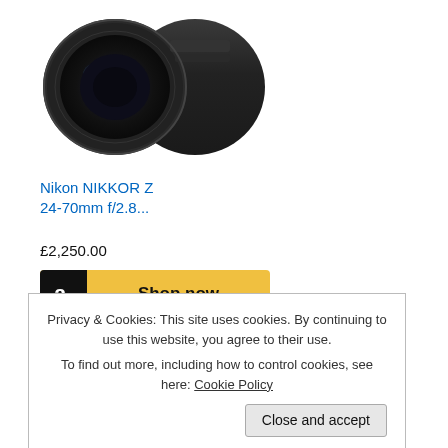[Figure (photo): Nikon NIKKOR Z 24-70mm f/2.8 camera lens, black, viewed from front-side angle]
Nikon NIKKOR Z 24-70mm f/2.8...
£2,250.00
[Figure (other): Amazon 'Shop now' button with black Amazon 'a' logo on gold background]
[Figure (logo): amazon.co.uk logo with orange arrow]
[Figure (photo): Second Nikon camera lens, black, viewed from front-side angle, partially visible]
Privacy & Cookies: This site uses cookies. By continuing to use this website, you agree to their use.
To find out more, including how to control cookies, see here: Cookie Policy
Close and accept
[Figure (other): Amazon 'Shop now' button at bottom with black Amazon 'a' logo on gold background]